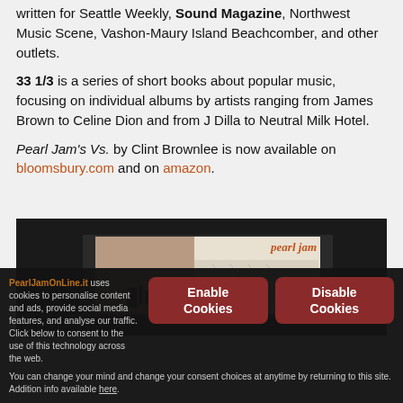written for Seattle Weekly, Sound Magazine, Northwest Music Scene, Vashon-Maury Island Beachcomber, and other outlets.
33 1/3 is a series of short books about popular music, focusing on individual albums by artists ranging from James Brown to Celine Dion and from J Dilla to Neutral Milk Hotel.
Pearl Jam's Vs. by Clint Brownlee is now available on bloomsbury.com and on amazon.
[Figure (photo): Dark background with book covers: a brownish-tan book cover on the left showing film strip graphic, and a light/white Pearl Jam album cover on the right with 'pearl jam' text in orange-red italic.]
PearlJamOnLine.it uses cookies to personalise content and ads, provide social media features, and analyse our traffic. Click below to consent to the use of this technology across the web. You can change your mind and change your consent choices at anytime by returning to this site. Addition info available here.